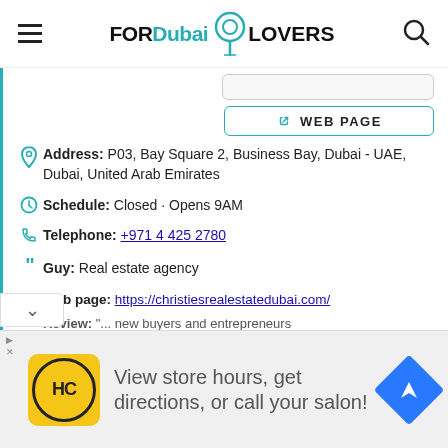FOR Dubai LOVERS
[Figure (screenshot): WEB PAGE button with link icon, teal border]
Address: P03, Bay Square 2, Business Bay, Dubai - UAE, Dubai, United Arab Emirates
Schedule: Closed · Opens 9AM
Telephone: +971 4 425 2780
Guy: Real estate agency
Web page: https://christiesrealestatedubai.com/
Review: "... new buyers and entrepreneurs
[Figure (infographic): Advertisement banner: HC logo, text 'View store hours, get directions, or call your salon!', blue navigation diamond icon]